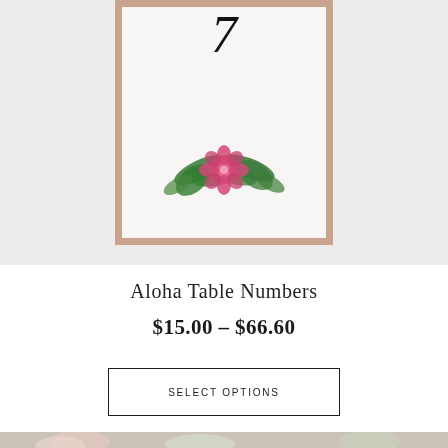[Figure (photo): Top portion of a product photo showing a framed table number card with tropical floral decoration (hibiscus and palm leaves) against a light gray background. Rose gold frame partially visible. Number 7 in script font visible at top.]
Aloha Table Numbers
$15.00 – $66.60
SELECT OPTIONS
[Figure (photo): Bottom portion of a product photo showing a framed table number card with watercolor floral arrangement featuring pink, burgundy, and lavender peonies with green foliage. Rose gold frame. Surrounded by blush pink roses, white flowers, and eucalyptus.]